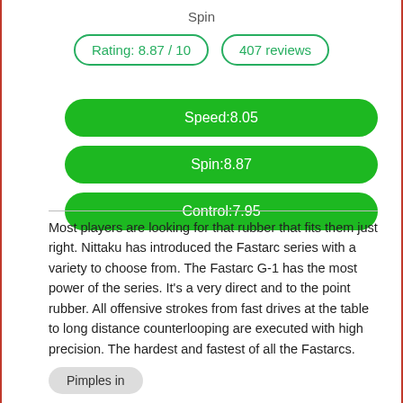Spin
Rating: 8.87 / 10
407 reviews
Speed:8.05
Spin:8.87
Control:7.95
Most players are looking for that rubber that fits them just right. Nittaku has introduced the Fastarc series with a variety to choose from. The Fastarc G-1 has the most power of the series. It's a very direct and to the point rubber. All offensive strokes from fast drives at the table to long distance counterlooping are executed with high precision. The hardest and fastest of all the Fastarcs.
Pimples in